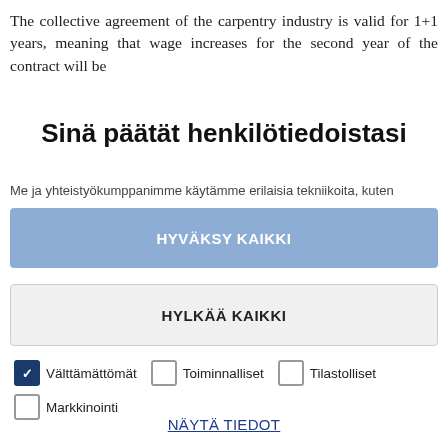The collective agreement of the carpentry industry is valid for 1+1 years, meaning that wage increases for the second year of the contract will be
Sinä päätät henkilötiedoistasi
Me ja yhteistyökumppanimme käytämme erilaisia tekniikoita, kuten
HYVÄKSY KAIKKI
HYLKÄÄ KAIKKI
Välttämättömät  Toiminnalliset  Tilastolliset  Markkinointi
NÄYTÄ TIEDOT